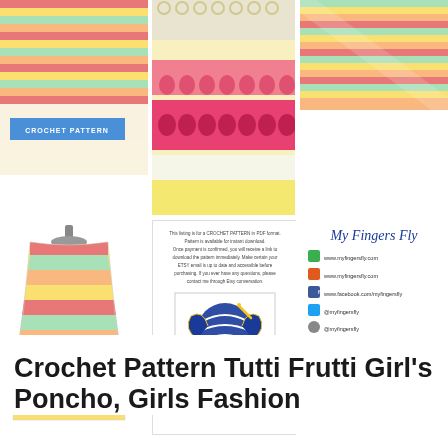[Figure (photo): Colorful striped crochet pattern photo with blue 'CROCHET PATTERN' label overlay]
[Figure (photo): Close-up of crochet stitches in yellow, pink/coral, white colors]
[Figure (photo): Diagonal view of colorful striped crochet blanket or poncho]
[Figure (photo): Colorful striped girl's crochet poncho on a dress form]
[Figure (infographic): Text description of crochet pattern listing with My Fingers Fly logo]
[Figure (infographic): My Fingers Fly brand info with social media links and website]
Crochet Pattern Tutti Frutti Girl's Poncho, Girls Fashion